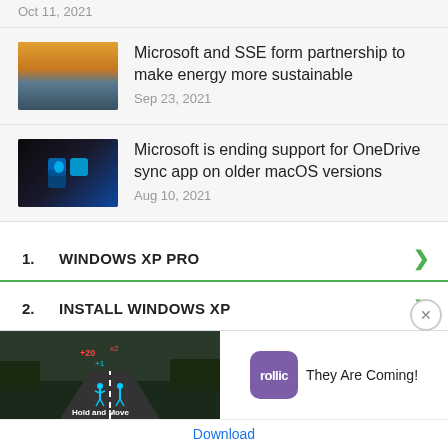Oct 11, 2021
Microsoft and SSE form partnership to make energy more sustainable
Sep 23, 2021
Microsoft is ending support for OneDrive sync app on older macOS versions
Aug 10, 2021
1.  WINDOWS XP PRO
2.  INSTALL WINDOWS XP
[Figure (screenshot): Ad banner showing Hold and Move game with rollic logo and 'They Are Coming!' tagline with Download link]